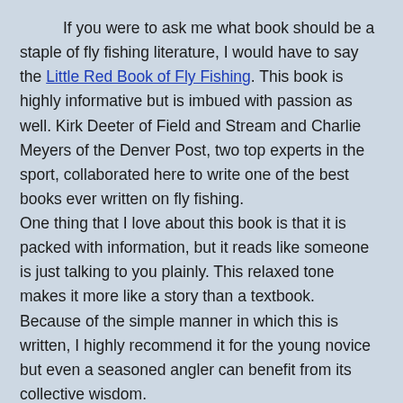If you were to ask me what book should be a staple of fly fishing literature, I would have to say the Little Red Book of Fly Fishing. This book is highly informative but is imbued with passion as well. Kirk Deeter of Field and Stream and Charlie Meyers of the Denver Post, two top experts in the sport, collaborated here to write one of the best books ever written on fly fishing.
One thing that I love about this book is that it is packed with information, but it reads like someone is just talking to you plainly. This relaxed tone makes it more like a story than a textbook.
Because of the simple manner in which this is written, I highly recommend it for the young novice but even a seasoned angler can benefit from its collective wisdom.